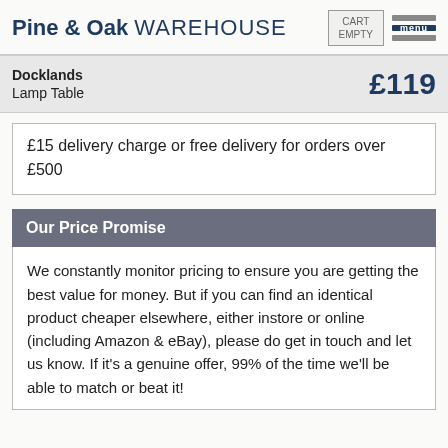Pine & Oak WAREHOUSE | CART EMPTY | menu
Docklands Lamp Table £119
£15 delivery charge or free delivery for orders over £500
Our Price Promise
We constantly monitor pricing to ensure you are getting the best value for money. But if you can find an identical product cheaper elsewhere, either instore or online (including Amazon & eBay), please do get in touch and let us know. If it's a genuine offer, 99% of the time we'll be able to match or beat it!